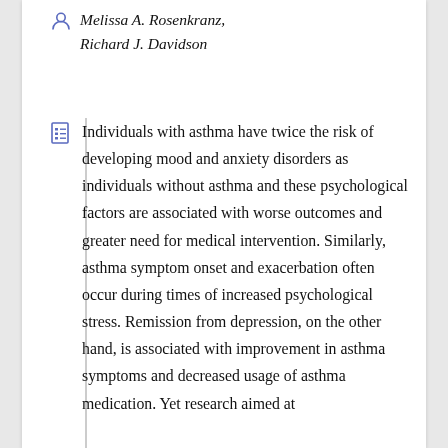Melissa A. Rosenkranz, Richard J. Davidson
Individuals with asthma have twice the risk of developing mood and anxiety disorders as individuals without asthma and these psychological factors are associated with worse outcomes and greater need for medical intervention. Similarly, asthma symptom onset and exacerbation often occur during times of increased psychological stress. Remission from depression, on the other hand, is associated with improvement in asthma symptoms and decreased usage of asthma medication. Yet research aimed at